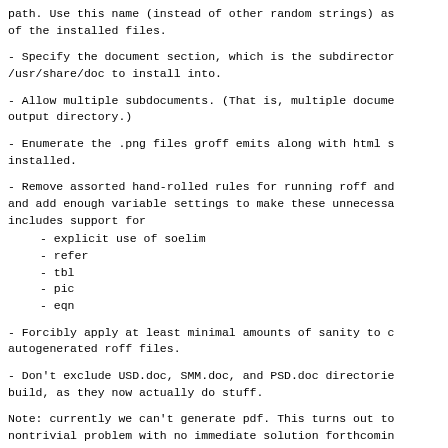path. Use this name (instead of other random strings) as of the installed files.
- Specify the document section, which is the subdirectory /usr/share/doc to install into.
- Allow multiple subdocuments. (That is, multiple documents in output directory.)
- Enumerate the .png files groff emits along with html s installed.
- Remove assorted hand-rolled rules for running roff and and add enough variable settings to make these unnecessa includes support for - explicit use of soelim - refer - tbl - pic - eqn
- Forcibly apply at least minimal amounts of sanity to c autogenerated roff files.
- Don't exclude USD.doc, SMM.doc, and PSD.doc directories build, as they now actually do stuff.
Note: currently we can't generate pdf. This turns out to nontrivial problem with no immediate solution forthcoming as a workaround, install compressed .ps as the printable